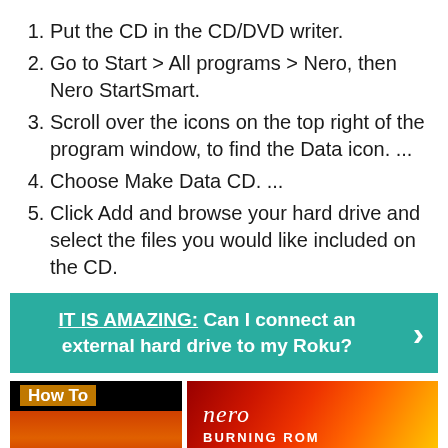1. Put the CD in the CD/DVD writer.
2. Go to Start > All programs > Nero, then Nero StartSmart.
3. Scroll over the icons on the top right of the program window, to find the Data icon. ...
4. Choose Make Data CD. ...
5. Click Add and browse your hard drive and select the files you would like included on the CD.
IT IS AMAZING: Can I connect an external hard drive to my Roku?
[Figure (photo): Bottom section showing two images: left is a 'How To' logo on black background with an orange element below; right is a Nero Burning ROM software advertisement with fire imagery.]